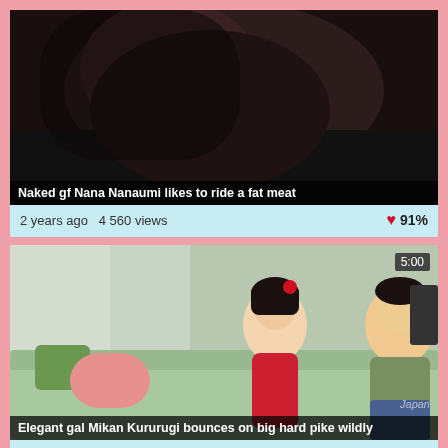[Figure (screenshot): Video thumbnail showing close-up of person with dark hair, dark/black clothing]
Naked gf Nana Nanaumi likes to ride a fat meat
2 years ago  4 560 views  ❤ 91%
[Figure (screenshot): Video thumbnail showing two people sitting on a green checkered couch, woman in red dress and man in green striped shirt, duration 5:00, watermark Japan]
Elegant gal Mikan Kururugi bounces on big hard pike wildly
2 years ago  3 612 views  ❤ 93%
[Figure (screenshot): Partial video thumbnail, duration badge 5:00 visible]